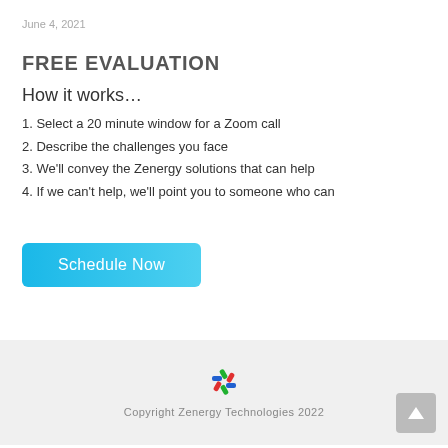June 4, 2021
FREE EVALUATION
How it works…
1. Select a 20 minute window for a Zoom call
2. Describe the challenges you face
3. We'll convey the Zenergy solutions that can help
4. If we can't help, we'll point you to someone who can
[Figure (other): Schedule Now button — blue gradient rounded rectangle with white text]
[Figure (logo): Zenergy Technologies colorful pinwheel/asterisk logo]
Copyright Zenergy Technologies 2022